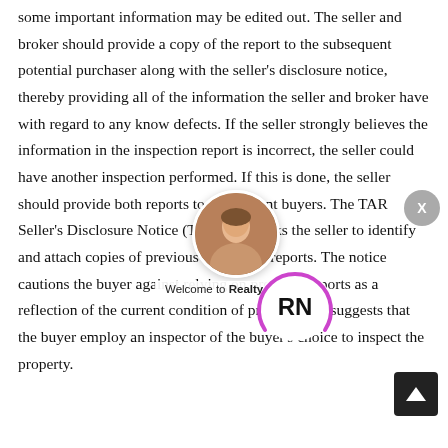some important information may be edited out. The seller and broker should provide a copy of the report to the subsequent potential purchaser along with the seller's disclosure notice, thereby providing all of the information the seller and broker have with regard to any know defects. If the seller strongly believes the information in the inspection report is incorrect, the seller could have another inspection performed. If this is done, the seller should provide both reports to subsequent buyers. The TAR Seller's Disclosure Notice (TAR 1406) asks the seller to identify and attach copies of previous inspection reports. The notice cautions the buyer against relying on previous reports as a reflection of the current condition of property and suggests that the buyer employ an inspector of the buyer's choice to inspect the property.
[Figure (logo): Circular avatar photo of a woman overlaid on the document, with 'Welcome to Realty Nation!' text below, and an RN logo circle with purple arc to the right]